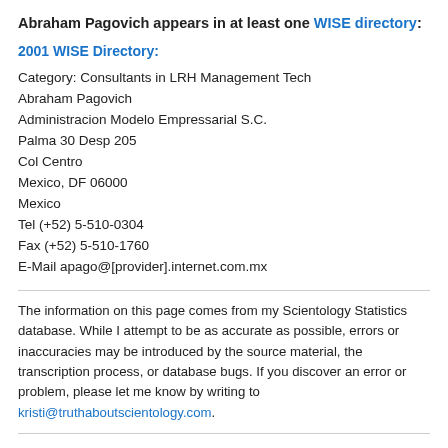Abraham Pagovich appears in at least one WISE directory:
2001 WISE Directory:
Category: Consultants in LRH Management Tech
Abraham Pagovich
Administracion Modelo Empressarial S.C.
Palma 30 Desp 205
Col Centro
Mexico, DF 06000
Mexico
Tel (+52) 5-510-0304
Fax (+52) 5-510-1760
E-Mail apago@[provider].internet.com.mx
The information on this page comes from my Scientology Statistics database. While I attempt to be as accurate as possible, errors or inaccuracies may be introduced by the source material, the transcription process, or database bugs. If you discover an error or problem, please let me know by writing to kristi@truthaboutscientology.com.